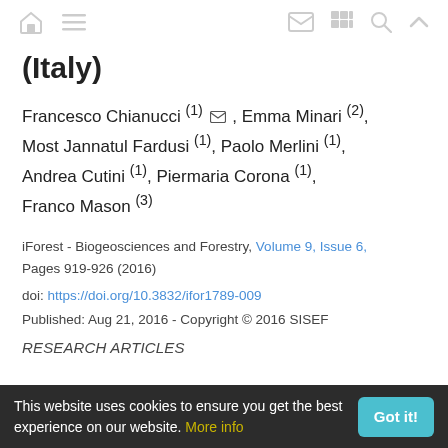Navigation bar with home, menu, email, grid, search, and up icons
(Italy)
Francesco Chianucci (1) [email], Emma Minari (2), Most Jannatul Fardusi (1), Paolo Merlini (1), Andrea Cutini (1), Piermaria Corona (1), Franco Mason (3)
iForest - Biogeosciences and Forestry, Volume 9, Issue 6, Pages 919-926 (2016)
doi: https://doi.org/10.3832/ifor1789-009
Published: Aug 21, 2016 - Copyright © 2016 SISEF
RESEARCH ARTICLES
This website uses cookies to ensure you get the best experience on our website. More info